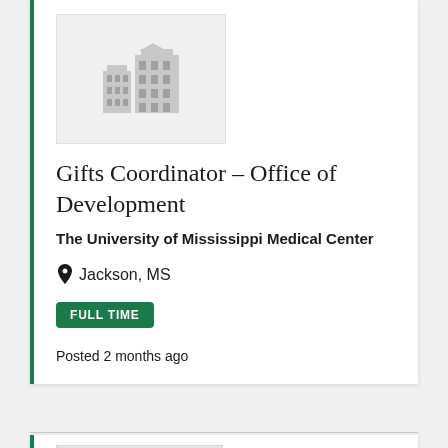[Figure (logo): Building/institution placeholder logo icon in gray on light gray background]
Gifts Coordinator – Office of Development
The University of Mississippi Medical Center
Jackson, MS
FULL TIME
Posted 2 months ago